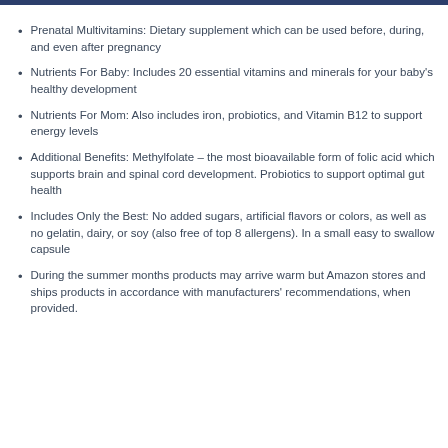Prenatal Multivitamins: Dietary supplement which can be used before, during, and even after pregnancy
Nutrients For Baby: Includes 20 essential vitamins and minerals for your baby's healthy development
Nutrients For Mom: Also includes iron, probiotics, and Vitamin B12 to support energy levels
Additional Benefits: Methylfolate – the most bioavailable form of folic acid which supports brain and spinal cord development. Probiotics to support optimal gut health
Includes Only the Best: No added sugars, artificial flavors or colors, as well as no gelatin, dairy, or soy (also free of top 8 allergens). In a small easy to swallow capsule
During the summer months products may arrive warm but Amazon stores and ships products in accordance with manufacturers' recommendations, when provided.